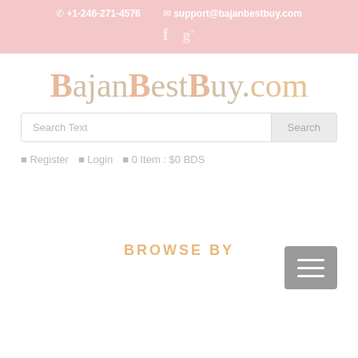+1-246-271-4576  support@bajanbestbuy.com
BajanBestBuy.com
Search Text  Search
Register  Login  0 Item : $0 BDS
[Figure (other): Hamburger menu button (three horizontal lines icon) on grey background]
BROWSE BY